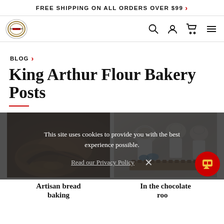FREE SHIPPING ON ALL ORDERS OVER $99 >
[Figure (logo): King Arthur Flour circular logo with decorative border]
[Figure (infographic): Navigation icons: search magnifier, user/account person, shopping cart, hamburger menu]
BLOG >
King Arthur Flour Bakery Posts
[Figure (photo): Artisan bread baking – hands working with dark rustic bread dough on a wooden surface]
[Figure (photo): In the chocolate room – workers in white uniforms and hair nets working with chocolate]
This site uses cookies to provide you with the best experience possible.
Read our Privacy Policy   ×
Artisan bread baking
In the chocolate room